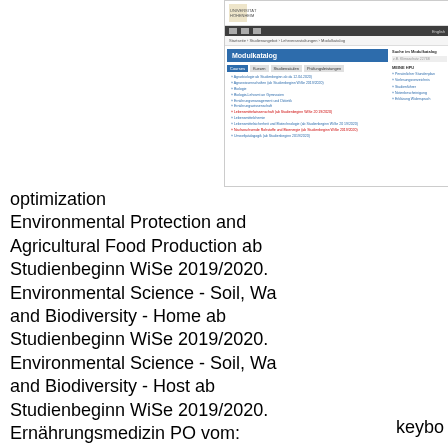[Figure (screenshot): Screenshot of Universität Hohenheim Modulkatalog (module catalog) webpage showing a list of study programs including Agrarbiologie, Biologie, Ernährungsmanagement, Lebensmittelwissenschaft, and others, with a blue header and navigation sidebar.]
optimization Environmental Protection and Agricultural Food Production ab Studienbeginn WiSe 2019/2020. Environmental Science - Soil, Wa and Biodiversity - Home ab Studienbeginn WiSe 2019/2020. Environmental Science - Soil, Wa and Biodiversity - Host ab Studienbeginn WiSe 2019/2020. Ernährungsmedizin PO vom: 01.10.2010.
keybo